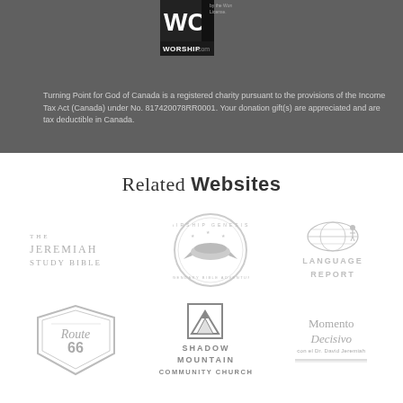[Figure (logo): WorshipCast WC logo with WORSHIP.com text on dark background]
Turning Point for God of Canada is a registered charity pursuant to the provisions of the Income Tax Act (Canada) under No. 817420078RR0001. Your donation gift(s) are appreciated and are tax deductible in Canada.
Related Websites
[Figure (logo): The Jeremiah Study Bible logo - grey text]
[Figure (logo): Airship Genesis circular badge logo - grey]
[Figure (logo): Language Report logo with globe - grey]
[Figure (logo): Route 66 vintage badge logo - grey]
[Figure (logo): Shadow Mountain Community Church logo with mountain icon - grey]
[Figure (logo): Momento Decisivo logo by Dr. David Jeremiah - grey]